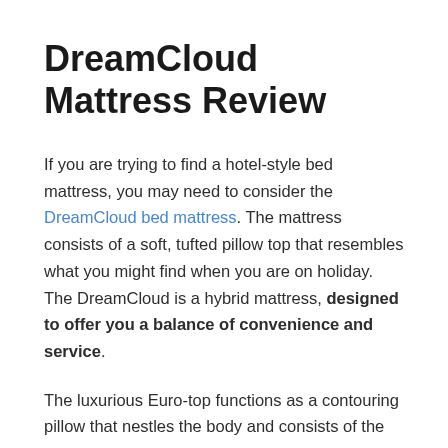DreamCloud Mattress Review
If you are trying to find a hotel-style bed mattress, you may need to consider the DreamCloud bed mattress. The mattress consists of a soft, tufted pillow top that resembles what you might find when you are on holiday. The DreamCloud is a hybrid mattress, designed to offer you a balance of convenience and service.
The luxurious Euro-top functions as a contouring pillow that nestles the body and consists of the